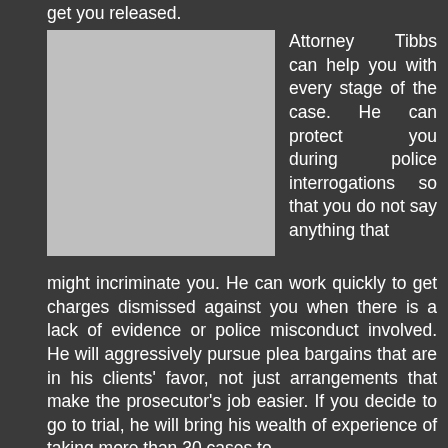get you released.
[Figure (photo): Gray placeholder image of Attorney Tibbs]
Attorney Tibbs can help you with every stage of the case. He can protect you during police interrogations so that you do not say anything that might incriminate you. He can work quickly to get charges dismissed against you when there is a lack of evidence or police misconduct involved. He will aggressively pursue plea bargains that are in his clients' favor, not just arrangements that make the prosecutor's job easier. If you decide to go to trial, he will bring his wealth of experience of taking more than 30 cases to